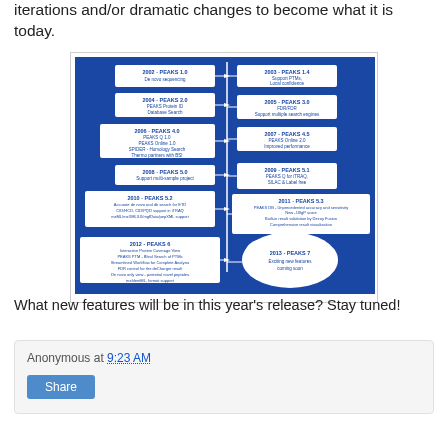iterations and/or dramatic changes to become what it is today.
[Figure (infographic): A timeline infographic showing the history of PEAKS software from 2002 to 2013. Blue background with white boxes showing milestones: 2002 PEAKS 1.0 (De novo sequencing), 2003 PEAKS 1.4 (Support PTMs, Local confidence), 2004 PEAKS 2.0 (PEAKS Protein ID, Database Search), 2005 PEAKS 3.0 (FDR/FDR, Support multiple search engines), 2006 PEAKS 4.0 (PEAKS Q 1.0, PEAKS Online 1.0, SPIDER - Homology Search, Thermo partners with BSI), 2007 PEAKS 4.5 (PEAKS Online 2.0, Improved performance), 2008 PEAKS 5.0 (Support multi-sample project), 2009 PEAKS 5.1 (PEAKS Q for iTRAQ, SILAC & Label free), 2010 PEAKS 5.2 (Accurate de novo and db search for ETD/CID/HCD, CID/PQD support in iTRAQ, mzML/mzXML3.0/mgfData/pepXML support), 2011 PEAKS 5.3 (PEAKS DB - Unprecedented accuracy and sensitivity, New -10lgP score, Built-in result validation by Decoy Fusion, Comprehensive result visualization), 2012 PEAKS 6 (Interactive Protein Coverage View, PEAKS PTM - Blind Search of PTMs, Streamlined Workflow for Complete Analysis, FDR control for the deCharger result, De novo only view - potential novel peptide discovery, Format support), 2013 PEAKS 7 (Exciting new features coming soon - shown as cloud shape)]
What new features will be in this year's release? Stay tuned!
Anonymous at 9:23 AM
Share